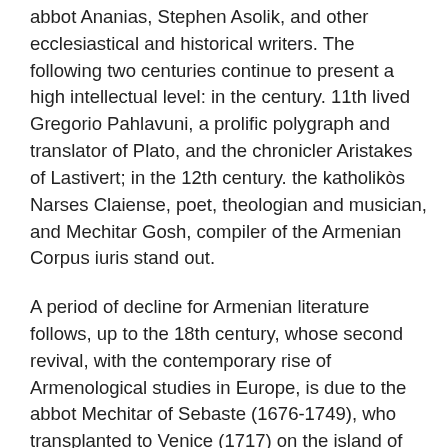abbot Ananias, Stephen Asolik, and other ecclesiastical and historical writers. The following two centuries continue to present a high intellectual level: in the century. 11th lived Gregorio Pahlavuni, a prolific polygraph and translator of Plato, and the chronicler Aristakes of Lastivert; in the 12th century. the katholikòs Narses Claiense, poet, theologian and musician, and Mechitar Gosh, compiler of the Armenian Corpus iuris stand out.
A period of decline for Armenian literature follows, up to the 18th century, whose second revival, with the contemporary rise of Armenological studies in Europe, is due to the abbot Mechitar of Sebaste (1676-1749), who transplanted to Venice (1717) on the island of San Lazzaro a still thriving hearth of studies and original literary production (alongside it is the Mechitarist seat of Vienna). Among the continuers of Mechitar (18th- 19th century) we remember M. Ciamcian, Armenia